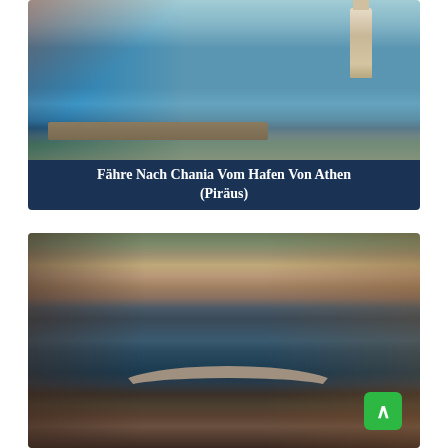[Figure (photo): A harbor scene with a lighthouse on the right, a stone pier with people walking on it, and deep blue Mediterranean sea. Old red building on the left. Blue sky with white clouds.]
Fähre Nach Chania Vom Hafen Von Athen (Piräus)
[Figure (photo): A Venice canal scene with a stone arched bridge, gondola with blue seats, red mooring poles, colorful old buildings, and a decorative golden gear/clock ornament on the right side. Green plants on the right.]